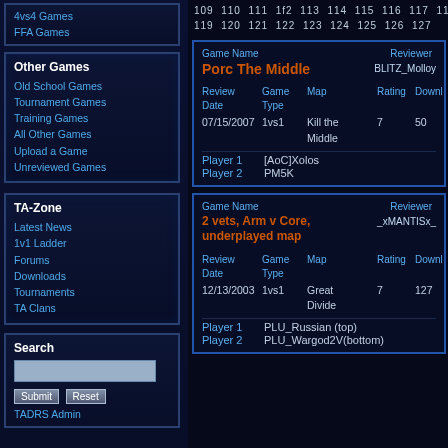4vs4 Games
FFA Games
109 110 111 1f2 113 114 115 116 117 118
119 120 121 122 123 124 125 126 127
Other Games
Old School Games
Tournament Games
Training Games
All Other Games
Upload a Game
Unreviewed Games
| Game Name | Reviewer |
| --- | --- |
| Porc The Middle | BLITZ_Molloy |
| Review Date | Game Type | Map | Rating | Downloads |
| 07/15/2007 | 1vs1 | Kill the Middle | 7 | 50 |
| Player 1 | [AoC]Xolos |
| Player 2 | PM5K |
TA-Zone
Latest News
1v1 Ladder
Forums
Downloads
Tournaments
TA Clans
| Game Name | Reviewer |
| --- | --- |
| 2 vets, Arm v Core, underplayed map | _xMANTISx_ |
| Review Date | Game Type | Map | Rating | Downloads |
| 12/13/2003 | 1vs1 | Great Divide | 7 | 127 |
| Player 1 | PLU_Russian (top) |
| Player 2 | PLU_Wargod2V(bottom) |
Search
TADRS Admin